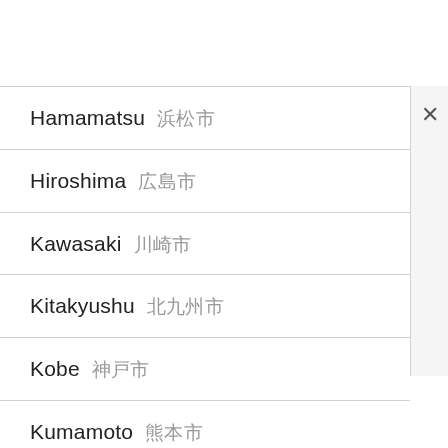Hamamatsu 浜松市
Hiroshima 広島市
Kawasaki 川崎市
Kitakyushu 北九州市
Kobe 神戸市
Kumamoto 熊本市
Kyoto 京都市
Nagoya 名古屋市
Niigata 新潟市